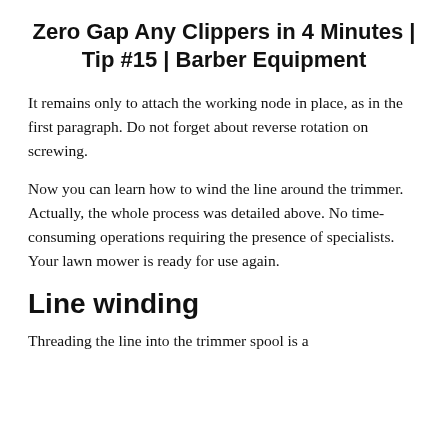Zero Gap Any Clippers in 4 Minutes | Tip #15 | Barber Equipment
It remains only to attach the working node in place, as in the first paragraph. Do not forget about reverse rotation on screwing.
Now you can learn how to wind the line around the trimmer. Actually, the whole process was detailed above. No time-consuming operations requiring the presence of specialists. Your lawn mower is ready for use again.
Line winding
Threading the line into the trimmer spool is a